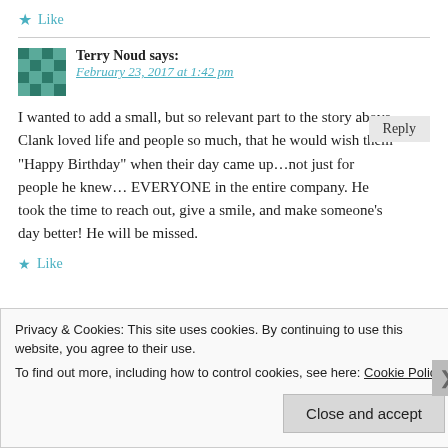★ Like
Terry Noud says:
February 23, 2017 at 1:42 pm
I wanted to add a small, but so relevant part to the story above. Clank loved life and people so much, that he would wish them "Happy Birthday" when their day came up...not just for people he knew...EVERYONE in the entire company. He took the time to reach out, give a smile, and make someone's day better! He will be missed.
★ Like
Privacy & Cookies: This site uses cookies. By continuing to use this website, you agree to their use.
To find out more, including how to control cookies, see here: Cookie Policy